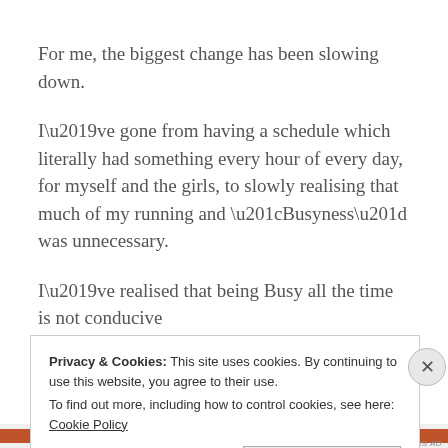For me, the biggest change has been slowing down.
I've gone from having a schedule which literally had something every hour of every day, for myself and the girls, to slowly realising that much of my running and “Busyness” was unnecessary.
I’ve realised that being Busy all the time is not conducive
Privacy & Cookies: This site uses cookies. By continuing to use this website, you agree to their use. To find out more, including how to control cookies, see here: Cookie Policy
Close and accept